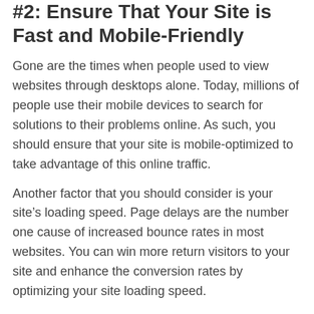#2: Ensure That Your Site is Fast and Mobile-Friendly
Gone are the times when people used to view websites through desktops alone. Today, millions of people use their mobile devices to search for solutions to their problems online. As such, you should ensure that your site is mobile-optimized to take advantage of this online traffic.
Another factor that you should consider is your site's loading speed. Page delays are the number one cause of increased bounce rates in most websites. You can win more return visitors to your site and enhance the conversion rates by optimizing your site loading speed.
Optimizing the above two aspects (mobile-friendliness and loading speed) will improve your customer experience. If your site offers valuable information, nothing will pull them back from visiting your site or referring it to their friends through links.